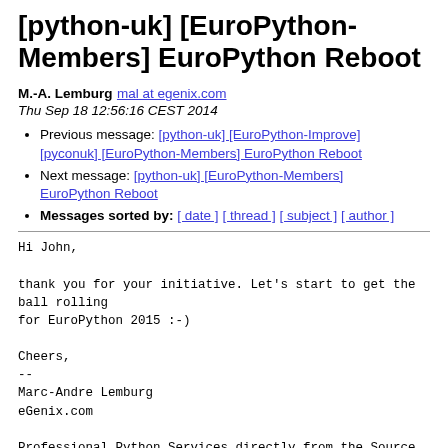[python-uk] [EuroPython-Members] EuroPython Reboot
M.-A. Lemburg mal at egenix.com
Thu Sep 18 12:56:16 CEST 2014
Previous message: [python-uk] [EuroPython-Improve] [pyconuk] [EuroPython-Members] EuroPython Reboot
Next message: [python-uk] [EuroPython-Members] EuroPython Reboot
Messages sorted by: [ date ] [ thread ] [ subject ] [ author ]
Hi John,

thank you for your initiative. Let's start to get the
ball rolling
for EuroPython 2015 :-)

Cheers,
--
Marc-Andre Lemburg
eGenix.com

Professional Python Services directly from the Source